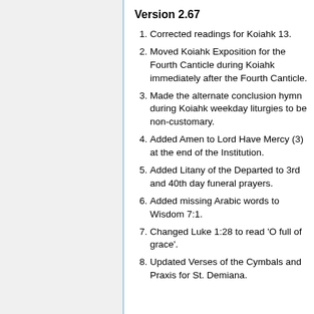Version 2.67
Corrected readings for Koiahk 13.
Moved Koiahk Exposition for the Fourth Canticle during Koiahk immediately after the Fourth Canticle.
Made the alternate conclusion hymn during Koiahk weekday liturgies to be non-customary.
Added Amen to Lord Have Mercy (3) at the end of the Institution.
Added Litany of the Departed to 3rd and 40th day funeral prayers.
Added missing Arabic words to Wisdom 7:1.
Changed Luke 1:28 to read 'O full of grace'.
Updated Verses of the Cymbals and Praxis for St. Demiana.